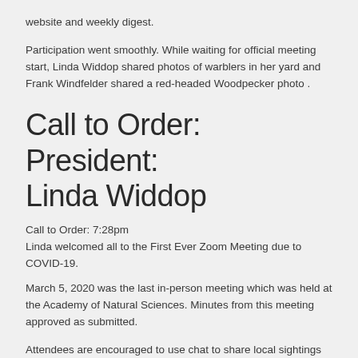website and weekly digest.
Participation went smoothly. While waiting for official meeting start, Linda Widdop shared photos of warblers in her yard and Frank Windfelder shared a red-headed Woodpecker photo .
Call to Order: President: Linda Widdop
Call to Order: 7:28pm
Linda welcomed all to the First Ever Zoom Meeting due to COVID-19.
March 5, 2020 was the last in-person meeting which was held at the Academy of Natural Sciences. Minutes from this meeting approved as submitted.
Attendees are encouraged to use chat to share local sightings and questions.
Continues...